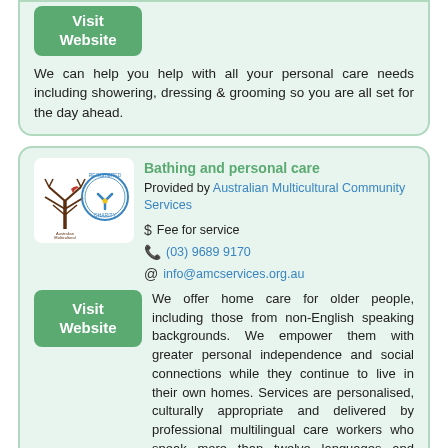[Figure (other): Visit Website button (green rounded rectangle)]
We can help you help with all your personal care needs including showering, dressing & grooming so you are all set for the day ahead.
Bathing and personal care
Provided by Australian Multicultural Community Services
$ Fee for service
(03) 9689 9170
info@amcservices.org.au
[Figure (logo): Australian Multicultural Community Services logo with tree and registered charity badge]
[Figure (other): Visit Website green button]
We offer home care for older people, including those from non-English speaking backgrounds. We empower them with greater personal independence and social connections while they continue to live in their own homes. Services are personalised, culturally appropriate and delivered by professional multilingual care workers who speak more than twelve languages and share common backgrounds. AMCS Premium Care services are